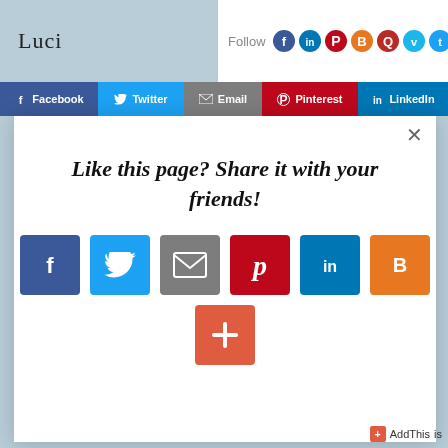Luci
[Figure (screenshot): Follow social media icons row: Facebook, LinkedIn, Pinterest, Blogger, Quora, Vimeo, Twitter, Instagram]
[Figure (screenshot): Share bar buttons: Facebook, Twitter, Email, Pinterest, LinkedIn]
Like this page? Share it with your friends!
[Figure (screenshot): Social share icons: Facebook (blue), Twitter (light blue), Email (gray), Pinterest (red), LinkedIn (blue), Blogger (orange), plus AddThis (+) button in coral]
AddThis  is